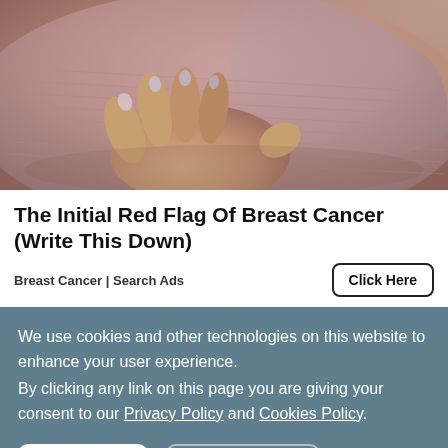[Figure (photo): Close-up photo of a person's hand touching or cupping their chest/breast area, wearing a mauve/rose colored ribbed top. The image is a breast cancer awareness advertisement photo.]
The Initial Red Flag Of Breast Cancer (Write This Down)
Breast Cancer | Search Ads
We use cookies and other technologies on this website to enhance your user experience. By clicking any link on this page you are giving your consent to our Privacy Policy and Cookies Policy.
Ok I Agree
Learn More